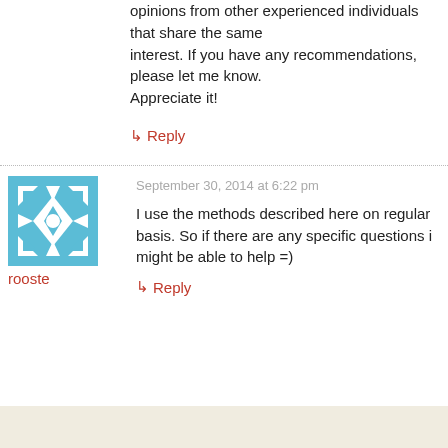opinions from other experienced individuals that share the same interest. If you have any recommendations, please let me know. Appreciate it!
↳ Reply
September 30, 2014 at 6:22 pm
[Figure (illustration): Blue and white geometric/snowflake avatar image for user rooste]
rooste
I use the methods described here on regular basis. So if there are any specific questions i might be able to help =)
↳ Reply